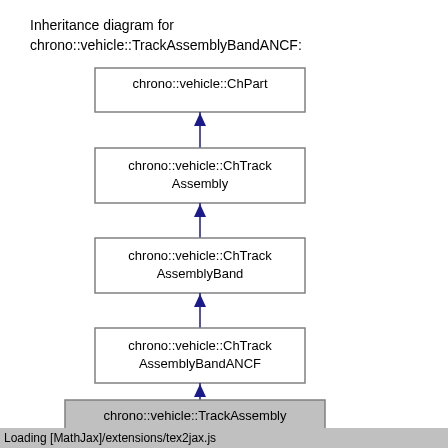[Figure (organizational-chart): Inheritance diagram for chrono::vehicle::TrackAssemblyBandANCF showing 5 class boxes connected by arrows (open arrowheads pointing upward) indicating inheritance chain: chrono::vehicle::ChPart -> chrono::vehicle::ChTrackAssembly -> chrono::vehicle::ChTrackAssemblyBand -> chrono::vehicle::ChTrackAssemblyBandANCF -> chrono::vehicle::TrackAssemblyBandANCF]
Loading [MathJax]/extensions/tex2jax.js